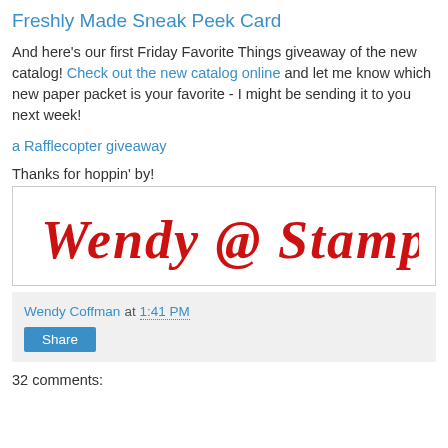Freshly Made Sneak Peek Card
And here's our first Friday Favorite Things giveaway of the new catalog! Check out the new catalog online and let me know which new paper packet is your favorite - I might be sending it to you next week!
a Rafflecopter giveaway
Thanks for hoppin' by!
[Figure (illustration): Handwritten red cursive signature reading 'Wendy @ Stamping Rules!']
Wendy Coffman at 1:41 PM
Share
32 comments: